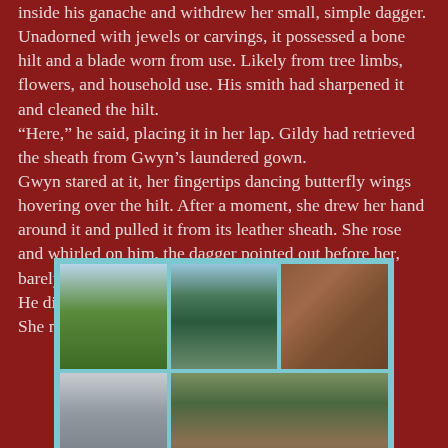inside his ganache and withdrew her small, simple dagger. Unadorned with jewels or carvings, it possessed a bone hilt and a blade worn from use. Likely from tree limbs, flowers, and household use. His smith had sharpened it and cleaned the hilt. “Here,” he said, placing it in her lap. Gildy had retrieved the sheath from Gwyn’s laundered gown.
Gwyn stared at it, her fingertips dancing butterfly wings hovering over the hilt. After a moment, she drew her hand around it and pulled it from its leather sheath. She rose and whirled on him, the dagger pointed out before her, barely pressing into his chest.
He didn’t retreat as he met her fiery, misty gaze.
She made no move to remove the dagger’s tip.
[Figure (photo): A collage of five photographs arranged in a grid with a cyan/teal border: top row shows a Scottish highland landscape with green hills and sky, a loch or sea loch with mountains, and a close-up of carved stone patterns. Bottom row shows a sailing boat mast detail and ruins of a stone building or abbey.]